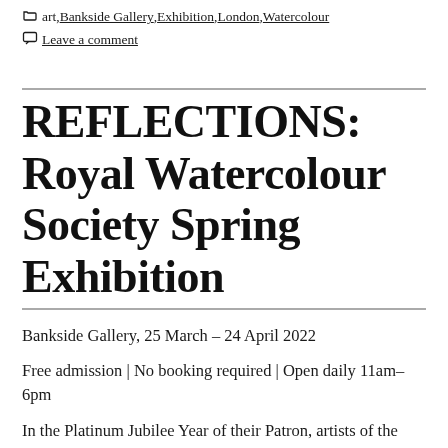art, Bankside Gallery, Exhibition, London, Watercolour
Leave a comment
REFLECTIONS: Royal Watercolour Society Spring Exhibition
Bankside Gallery, 25 March – 24 April 2022
Free admission | No booking required | Open daily 11am–6pm
In the Platinum Jubilee Year of their Patron, artists of the Royal Watercolour Society take a